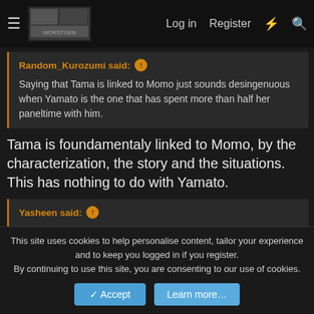≡  [logo]  Log in  Register  ⚡  🔍
Random_Kurozumi said: ⬆  Saying that Tama is linked to Momo just sounds desingenuous when Yamato is the one that has spent more than half her paneltime with him.
Tama is foundamentaly linked to Momo, by the characterization, the story and the situations. This has nothing to do with Yamato.
Yasheen said: ⬆  Momo is a 28 year old man with a dragon devil fruit. Tama is still a child. If oda wanted Tama to join he'll age her but oda isn't going to
This site uses cookies to help personalise content, tailor your experience and to keep you logged in if you register.
By continuing to use this site, you are consenting to our use of cookies.